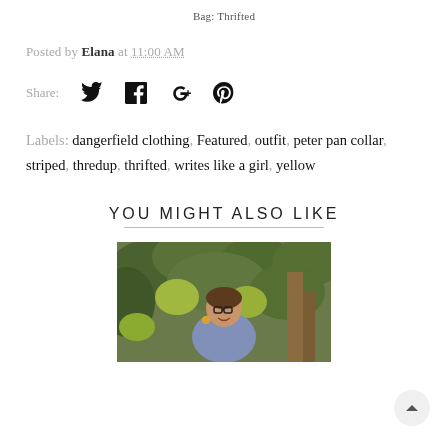Bag: Thrifted
Posted by Elana at 11:00 AM
Share:
Labels: dangerfield clothing, Featured, outfit, peter pan collar, striped, thredup, thrifted, writes like a girl, yellow
YOU MIGHT ALSO LIKE
[Figure (photo): Woman with glasses smiling in front of green foliage background]